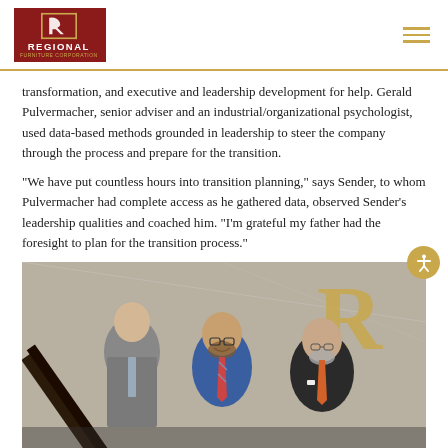[Figure (logo): Regional logo with horse icon in red box with gold text 'REGIONAL']
transformation, and executive and leadership development for help. Gerald Pulvermacher, senior adviser and an industrial/organizational psychologist, used data-based methods grounded in leadership to steer the company through the process and prepare for the transition.

“We have put countless hours into transition planning,” says Sender, to whom Pulvermacher had complete access as he gathered data, observed Sender’s leadership qualities and coached him. “I’m grateful my father had the foresight to plan for the transition process.”
[Figure (photo): Three men posing on a staircase in front of a gold Regional logo letter R. Left: older man in grey suit, center: young man with beard in blue suit and striped tie, right: older man with grey beard in dark suit with orange tie.]